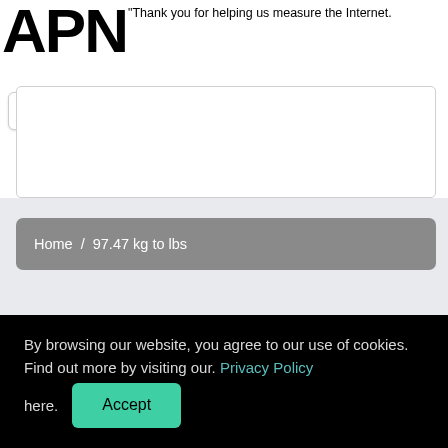[Figure (logo): APNIC logo — large bold black text 'APNIC']
"Thank you for helping us measure the Internet.
Home / 97.47 kg to lbs
By browsing our website, you agree to our use of cookies. Find out more by visiting our. Privacy Policy here.
Accept